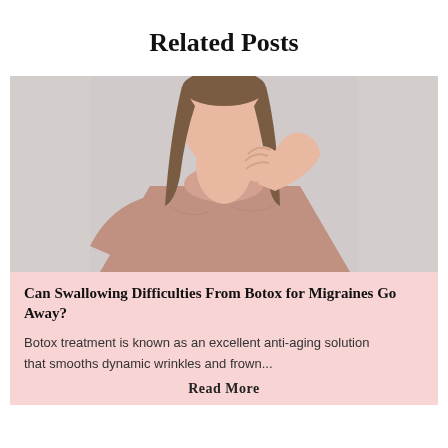Related Posts
[Figure (photo): Woman in a dusty pink/mauve sleeveless top touching her throat/neck area with her hand, light grey background, close-up from shoulders up]
Can Swallowing Difficulties From Botox for Migraines Go Away?
Botox treatment is known as an excellent anti-aging solution that smooths dynamic wrinkles and frown...
Read More